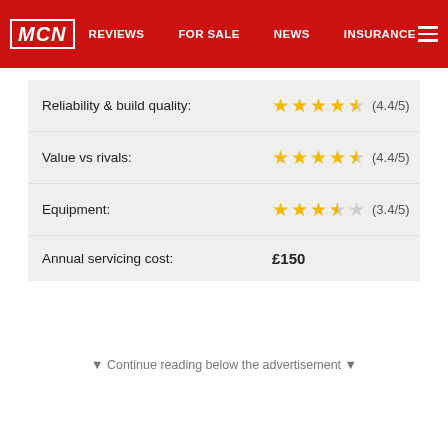MCN | REVIEWS | FOR SALE | NEWS | INSURANCE
| Category | Rating |
| --- | --- |
| Reliability & build quality: | 4.4/5 |
| Value vs rivals: | 4.4/5 |
| Equipment: | 3.4/5 |
| Annual servicing cost: | £150 |
▼ Continue reading below the advertisement ▼